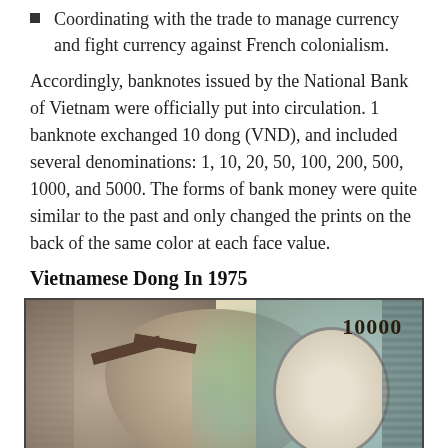Coordinating with the trade to manage currency and fight currency against French colonialism.
Accordingly, banknotes issued by the National Bank of Vietnam were officially put into circulation. 1 banknote exchanged 10 dong (VND), and included several denominations: 1, 10, 20, 50, 100, 200, 500, 1000, and 5000. The forms of bank money were quite similar to the past and only changed the prints on the back of the same color at each face value.
Vietnamese Dong In 1975
[Figure (photo): A Vietnamese banknote (10000 dong) featuring an engraved illustration of a water buffalo head on the front, with decorative patterns and an oval emblem on the right side.]